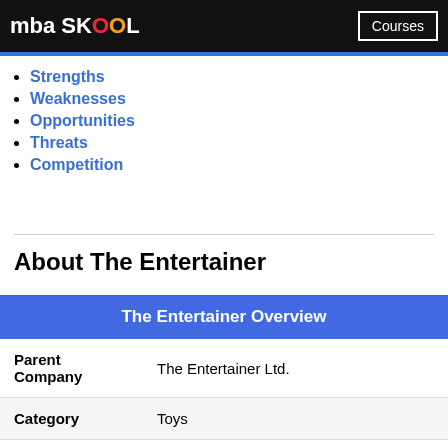mba SKOOL | Courses
Strengths
Weaknesses
Opportunities
Threats
Competition
About The Entertainer
| The Entertainer Overview |
| --- |
| Parent Company | The Entertainer Ltd. |
| Category | Toys |
| Sector | Lifestyle and Retail |
| Tagline/ | Mad about Toys |